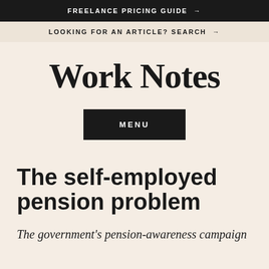FREELANCE PRICING GUIDE →
LOOKING FOR AN ARTICLE? SEARCH →
Work Notes
MENU
The self-employed pension problem
The government's pension-awareness campaign